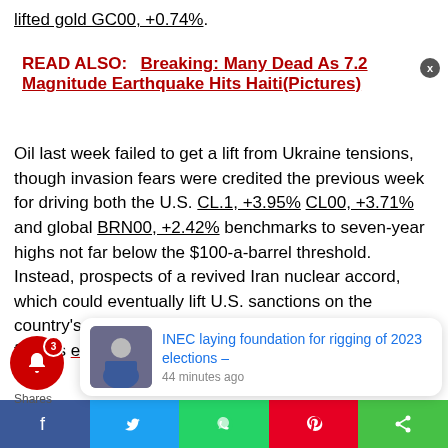lifted gold GC00, +0.74%.
READ ALSO:   Breaking: Many Dead As 7.2 Magnitude Earthquake Hits Haiti(Pictures)
Oil last week failed to get a lift from Ukraine tensions, though invasion fears were credited the previous week for driving both the U.S. CL.1, +3.95% CL00, +3.71% and global BRN00, +2.42% benchmarks to seven-year highs not far below the $100-a-barrel threshold. Instead, prospects of a revived Iran nuclear accord, which could eventually lift U.S. sanctions on the country's crude exports, prompted profit-taking as crude futures ended a streak of eight w…
INEC laying foundation for rigging of 2023 elections – 44 minutes ago